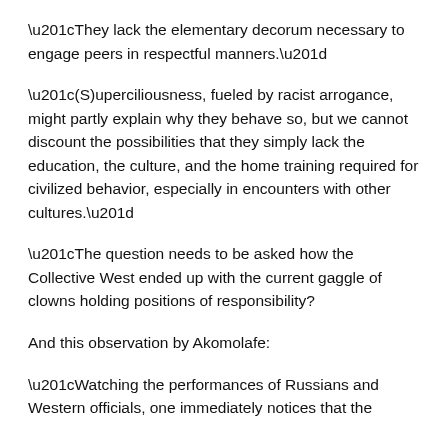“They lack the elementary decorum necessary to engage peers in respectful manners.”
“(S)uperciliousness, fueled by racist arrogance, might partly explain why they behave so, but we cannot discount the possibilities that they simply lack the education, the culture, and the home training required for civilized behavior, especially in encounters with other cultures.”
“The question needs to be asked how the Collective West ended up with the current gaggle of clowns holding positions of responsibility?
And this observation by Akomolafe:
“Watching the performances of Russians and Western officials, one immediately notices that the [text continues below]